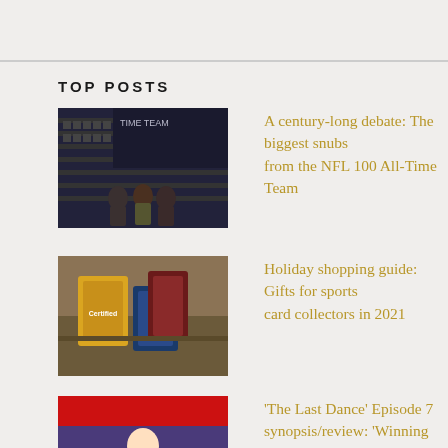TOP POSTS
[Figure (photo): A dark-themed TV set showing NFL 100 All-Time Team announcement with people standing in front of a large display]
A century-long debate: The biggest snubs from the NFL 100 All-Time Team
[Figure (photo): Sports card collector boxes on display, including Certified brand]
Holiday shopping guide: Gifts for sports card collectors in 2021
[Figure (photo): Basketball player in white uniform standing in a gym or locker room area with purple background]
'The Last Dance' Episode 7 synopsis/review: 'Winning has a price'
[Figure (photo): Panini football card pack featuring Cincinnati Bengals player]
Pick-Six: Best football card releases from the 2020 NFL season